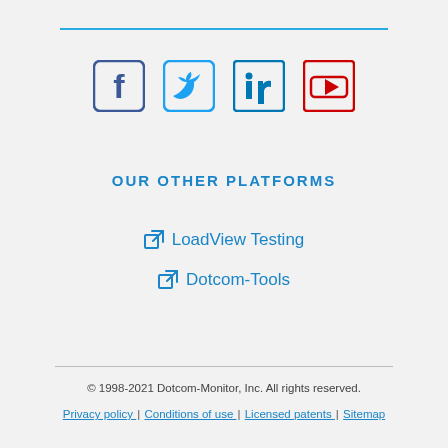[Figure (infographic): Social media icons: Facebook, Twitter, LinkedIn, YouTube]
OUR OTHER PLATFORMS
LoadView Testing
Dotcom-Tools
© 1998-2021 Dotcom-Monitor, Inc. All rights reserved. Privacy policy | Conditions of use | Licensed patents | Sitemap